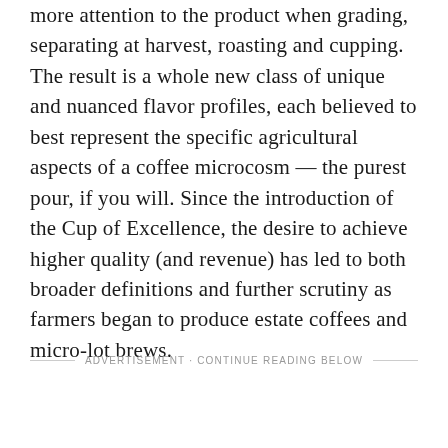more attention to the product when grading, separating at harvest, roasting and cupping. The result is a whole new class of unique and nuanced flavor profiles, each believed to best represent the specific agricultural aspects of a coffee microcosm — the purest pour, if you will. Since the introduction of the Cup of Excellence, the desire to achieve higher quality (and revenue) has led to both broader definitions and further scrutiny as farmers began to produce estate coffees and micro-lot brews.
ADVERTISEMENT · CONTINUE READING BELOW